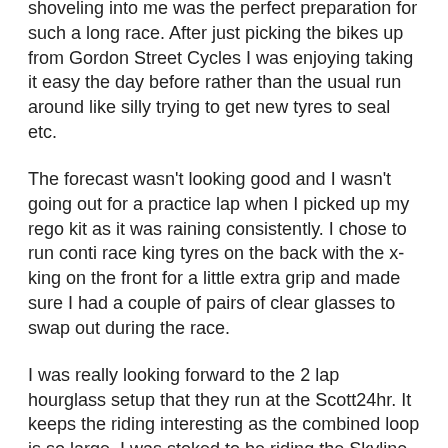shoveling into me was the perfect preparation for such a long race. After just picking the bikes up from Gordon Street Cycles I was enjoying taking it easy the day before rather than the usual run around like silly trying to get new tyres to seal etc.
The forecast wasn't looking good and I wasn't going out for a practice lap when I picked up my rego kit as it was raining consistently. I chose to run conti race king tyres on the back with the x-king on the front for a little extra grip and made sure I had a couple of pairs of clear glasses to swap out during the race.
I was really looking forward to the 2 lap hourglass setup that they run at the Scott24hr. It keeps the riding interesting as the combined loop is so large. I was stoked to be riding the Skyline Luge combination. It allows for a good rest down the hill where you pretty much don't pedal for 3-4km.
On the start line it was Ed McDonald and Andrew Hall that had me most worried. Andy demonstrated some good form at the JetBlack 12hr a month earlier and Ed, now racing with